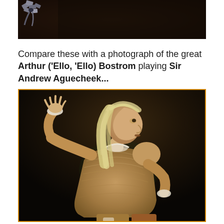[Figure (photo): Partial top photograph showing a dark image with ornamental detail, cropped at top of page]
Compare these with a photograph of the great Arthur ('Ello, 'Ello) Bostrom playing Sir Andrew Aguecheek...
[Figure (photo): Photograph of Arthur Bostrom in costume as Sir Andrew Aguecheek — a theatrical actor in period costume with long blonde hair, wearing an ornate beige/tan period doublet, gesturing with one hand raised and the other on his hip, against a dark stage background. The photo is framed with a gold/amber border.]